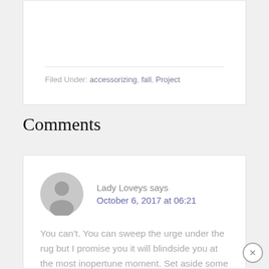Filed Under: accessorizing, fall, Project
Comments
Lady Loveys says October 6, 2017 at 06:21
You can't. You can sweep the urge under the rug but I promise you it will blindside you at the most inopertune moment. Set aside some time and go for it.